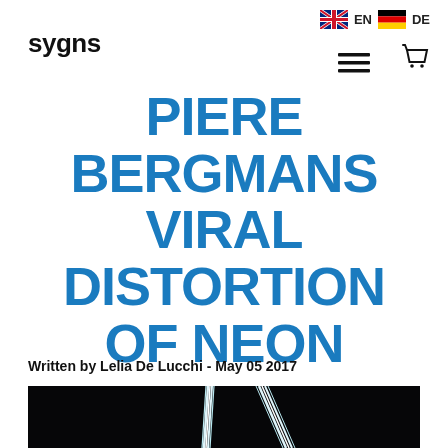sygns  EN  DE
PIERE BERGMANS VIRAL DISTORTION OF NEON
Written by Lelia De Lucchi - May 05 2017
[Figure (photo): Dark photo showing glowing neon light tubes on a black background, two parallel vertical/diagonal lines of bright cyan/white light]